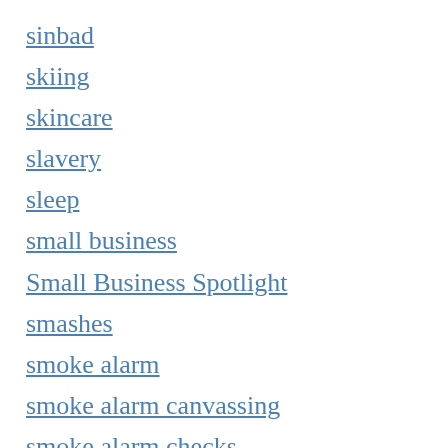sinbad
skiing
skincare
slavery
sleep
small business
Small Business Spotlight
smashes
smoke alarm
smoke alarm canvassing
smoke alarm checks
Smoke Alarm Saturday
smuggling
snail
snake